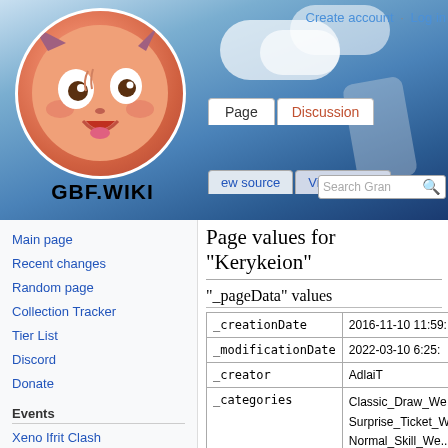[Figure (screenshot): GBF.WIKI website header with anime mascot logo (round pink/orange character face), navigation tabs (Page, Discussion), and sky background]
Create account  Log in
Page values for "Kerykeion"
"_pageData" values
|  |  |
| --- | --- |
| _creationDate | 2016-11-10 11:59:... |
| _modificationDate | 2022-03-10 6:25:... |
| _creator | AdlaiT |
| _categories | Classic_Draw_We...
Surprise_Ticket_W...
Normal_Skill_We...
Wind_Normal_Sk...
• Wind_Might_Ski...
• Might_Skill_We... |
Main page
Recent changes
Random page
Collection Tracker
Tier List
Discord
Donate
Xeno Ifrit Clash
Xeno Sagittarius Clash
Side Stories
Event History